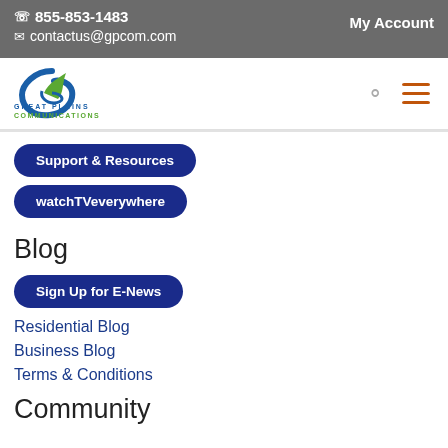☎ 855-853-1483  ✉ contactus@gpcom.com  My Account
[Figure (logo): Great Plains Communications logo with stylized blue and green G mark and company name]
Support & Resources
watchTVeverywhere
Blog
Sign Up for E-News
Residential Blog
Business Blog
Terms & Conditions
Community